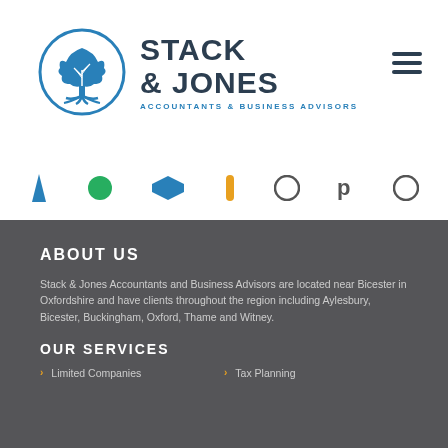[Figure (logo): Stack & Jones Accountants & Business Advisors logo with circular tree emblem and company name]
[Figure (other): Navigation hamburger menu icon (three horizontal lines)]
[Figure (other): Row of partially visible partner/software logos and icons]
ABOUT US
Stack & Jones Accountants and Business Advisors are located near Bicester in Oxfordshire and have clients throughout the region including Aylesbury, Bicester, Buckingham, Oxford, Thame and Witney.
OUR SERVICES
Limited Companies
Tax Planning